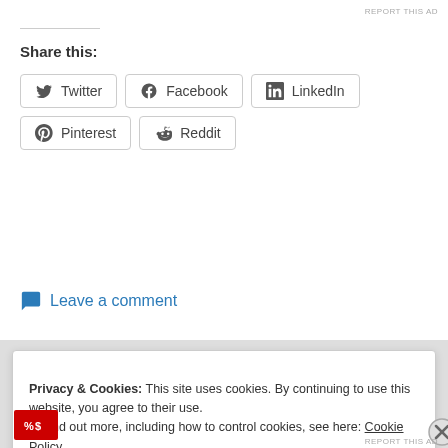REPORT THIS AD
Share this:
Twitter | Facebook | LinkedIn | Pinterest | Reddit
Leave a comment
Privacy & Cookies: This site uses cookies. By continuing to use this website, you agree to their use.
To find out more, including how to control cookies, see here: Cookie Policy
Close and accept
REPORT THIS AD